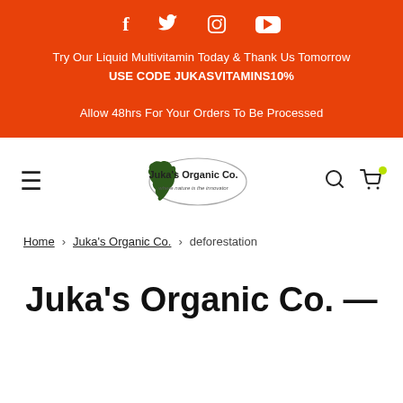[Figure (infographic): Orange banner with social media icons (Facebook, Twitter, Instagram, YouTube), promotional text and discount code]
Try Our Liquid Multivitamin Today & Thank Us Tomorrow
USE CODE JUKASVITAMINS10%
Allow 48hrs For Your Orders To Be Processed
[Figure (logo): Juka's Organic Co. logo with African continent and oval text border]
Home › Juka's Organic Co. › deforestation
Juka's Organic Co. — deforestation